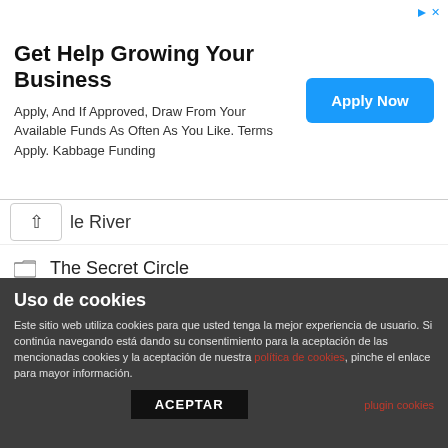[Figure (screenshot): Advertisement banner: 'Get Help Growing Your Business' with 'Apply Now' button in blue from Kabbage Funding]
le River (partially visible, collapsed)
The Secret Circle
The Vampire Diaries
The Walking Dead
Touch
True Blood
True Detective
Zero Hour
Uso de cookies
Este sitio web utiliza cookies para que usted tenga la mejor experiencia de usuario. Si continúa navegando está dando su consentimiento para la aceptación de las mencionadas cookies y la aceptación de nuestra política de cookies, pinche el enlace para mayor información.
plugin cookies
ACEPTAR